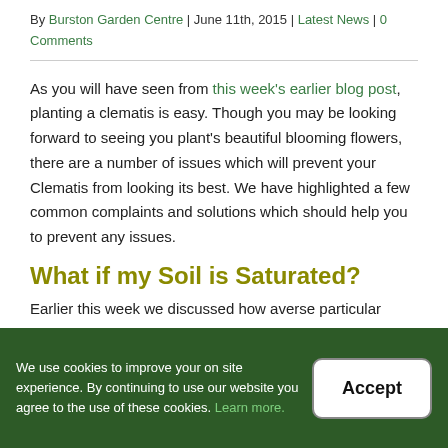By Burston Garden Centre | June 11th, 2015 | Latest News | 0 Comments
As you will have seen from this week's earlier blog post, planting a clematis is easy. Though you may be looking forward to seeing you plant's beautiful blooming flowers, there are a number of issues which will prevent your Clematis from looking its best. We have highlighted a few common complaints and solutions which should help you to prevent any issues.
What if my Soil is Saturated?
Earlier this week we discussed how averse particular Clematises were to standing water. All varieties will require soil which is moist, but not overly so. If you have no choice but to plant your Clematises in such soil, plant them near large shrubs so that they absorb excess water. If the problem is significant enough, then you can lay draining pipes under the plants, using
We use cookies to improve your on site experience. By continuing to use our website you agree to the use of these cookies. Learn more.